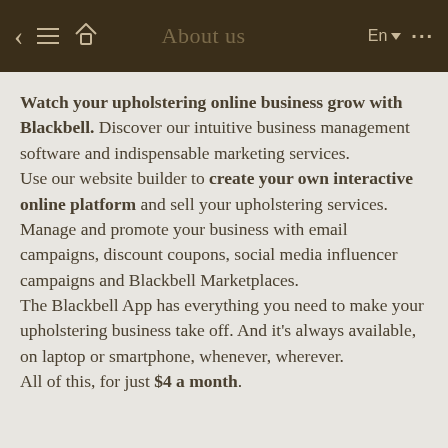About us
Watch your upholstering online business grow with Blackbell. Discover our intuitive business management software and indispensable marketing services.
Use our website builder to create your own interactive online platform and sell your upholstering services. Manage and promote your business with email campaigns, discount coupons, social media influencer campaigns and Blackbell Marketplaces.
The Blackbell App has everything you need to make your upholstering business take off. And it's always available, on laptop or smartphone, whenever, wherever.
All of this, for just $4 a month.